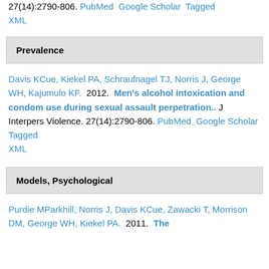27(14):2790-806. PubMed Google Scholar Tagged XML
Prevalence
Davis KCue, Kiekel PA, Schraufnagel TJ, Norris J, George WH, Kajumulo KF. 2012. Men's alcohol intoxication and condom use during sexual assault perpetration.. J Interpers Violence. 27(14):2790-806. PubMed Google Scholar Tagged XML
Models, Psychological
Purdie MParkhill, Norris J, Davis KCue, Zawacki T, Morrison DM, George WH, Kiekel PA. 2011. The